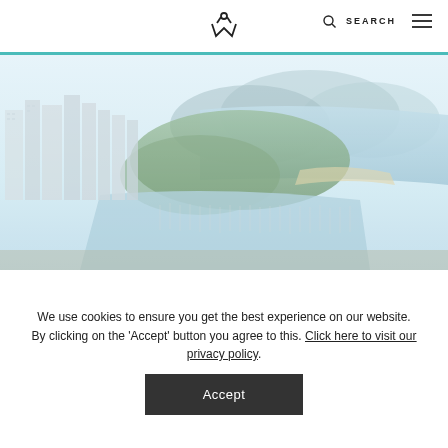Ward Village logo | SEARCH
[Figure (photo): Aerial photograph of Ward Village in Honolulu, Hawaii, showing high-rise buildings, marina with sailboats, green parkland, and ocean coastline with Waikiki in the background. Image is slightly faded/washed out.]
Ward Village—A Place Where People
We use cookies to ensure you get the best experience on our website. By clicking on the 'Accept' button you agree to this. Click here to visit our privacy policy.
Accept